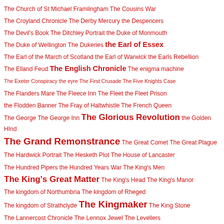The Church of St Michael Framlingham The Cousins War
The Croyland Chronicle The Derby Mercury the Despencers
The Devil's Book The Ditchley Portrait the Duke of Monmouth
The Duke of Wellington The Dukeries the Earl of Essex
The Earl of the March of Scotland the Earl of Warwick the Earls Rebellion
The Elland Feud The English Chronicle The enigma machine
The Exeter Conspiracy the eyre The First Crusade The Five Knights Case
The Flanders Mare The Fleece Inn The Fleet the Fleet Prison
the Flodden Banner The Fray of Haltwhistle The French Queen
The George The George Inn The Glorious Revolution the Golden HInd
The Grand Remonstrance The Great Comet The Great Plague
The Hardwick Portrait The Hesketh Plot The House of Lancaster
The Hundred Pipers the Hundred Years War The King's Men
The King's Great Matter The King's Head The King's Manor
The kingdom of Northumbria The kingdom of Rheged
The kingdom of Strathclyde The Kingmaker The King Stone
The Lannercost Chronicle The Lennox Jewel The Levellers
The lion and the unicorn The Lisle Letters The London Chronicle
the Main Plot The Mary Rose the Minories The Neville Window